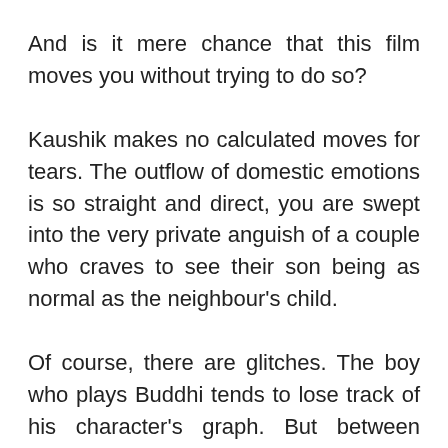And is it mere chance that this film moves you without trying to do so?
Kaushik makes no calculated moves for tears. The outflow of domestic emotions is so straight and direct, you are swept into the very private anguish of a couple who craves to see their son being as normal as the neighbour's child.
Of course, there are glitches. The boy who plays Buddhi tends to lose track of his character's graph. But between them, Irrfan and Shobana cultivate a climate of complete conviction for this uneven but heart-warming study of anguish in